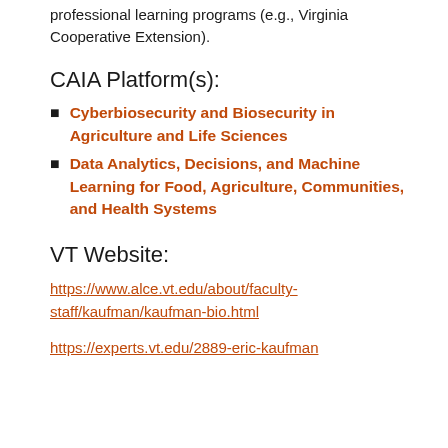professional learning programs (e.g., Virginia Cooperative Extension).
CAIA Platform(s):
Cyberbiosecurity and Biosecurity in Agriculture and Life Sciences
Data Analytics, Decisions, and Machine Learning for Food, Agriculture, Communities, and Health Systems
VT Website:
https://www.alce.vt.edu/about/faculty-staff/kaufman/kaufman-bio.html
https://experts.vt.edu/2889-eric-kaufman